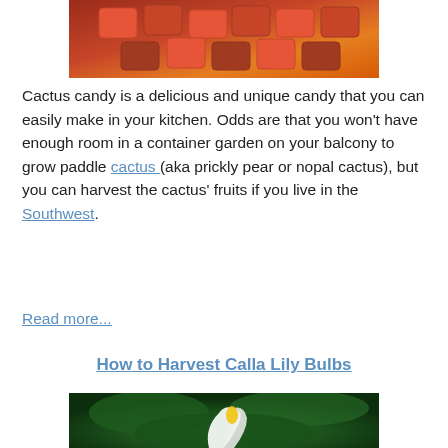[Figure (photo): Photo of cactus candy — colorful red/orange jelly cubes in an orange tray]
Cactus candy is a delicious and unique candy that you can easily make in your kitchen. Odds are that you won't have enough room in a container garden on your balcony to grow paddle cactus (aka prickly pear or nopal cactus), but you can harvest the cactus' fruits if you live in the Southwest.
Read more...
How to Harvest Calla Lily Bulbs
[Figure (photo): Photo of a white calla lily flower with yellow center against green leaves]